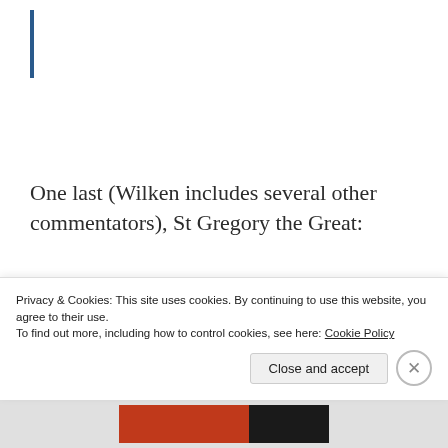One last (Wilken includes several other commentators), St Gregory the Great:
Long ago Isaiah looked upon the garment of Christ, which was stained
Privacy & Cookies: This site uses cookies. By continuing to use this website, you agree to their use.
To find out more, including how to control cookies, see here: Cookie Policy
Close and accept